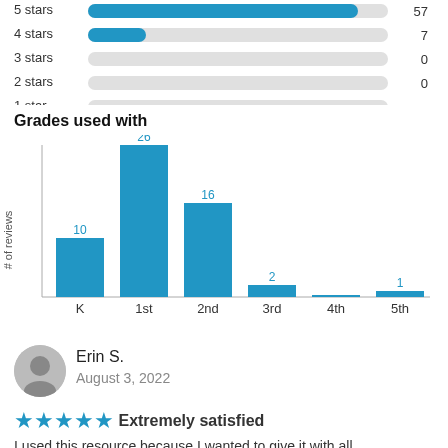[Figure (bar-chart): Grades used with]
Erin S.
August 3, 2022
★★★★★ Extremely satisfied
I used this resource because I wanted to give it with all...